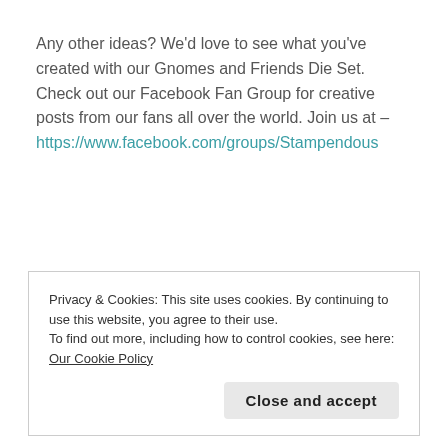Any other ideas? We'd love to see what you've created with our Gnomes and Friends Die Set. Check out our Facebook Fan Group for creative posts from our fans all over the world. Join us at – https://www.facebook.com/groups/Stampendous
Privacy & Cookies: This site uses cookies. By continuing to use this website, you agree to their use.
To find out more, including how to control cookies, see here: Our Cookie Policy